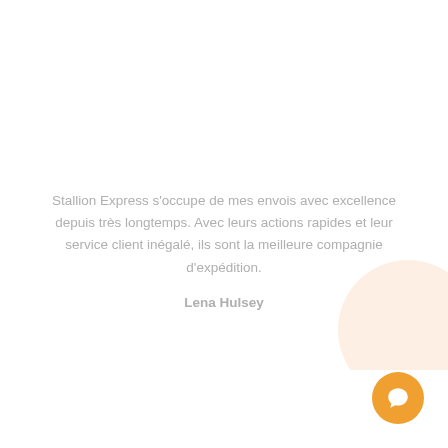Stallion Express s'occupe de mes envois avec excellence depuis très longtemps. Avec leurs actions rapides et leur service client inégalé, ils sont la meilleure compagnie d'expédition.

Lena Hulsey
[Figure (illustration): Orange circular chat button with speech bubble icon in the bottom-right corner, with a decorative light peach/orange circle behind it]